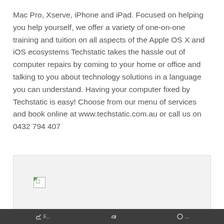Mac Pro, Xserve, iPhone and iPad. Focused on helping you help yourself, we offer a variety of one-on-one training and tuition on all aspects of the Apple OS X and iOS ecosystems Techstatic takes the hassle out of computer repairs by coming to your home or office and talking to you about technology solutions in a language you can understand. Having your computer fixed by Techstatic is easy! Choose from our menu of services and book online at www.techstatic.com.au or call us on 0432 794 407
[Figure (other): A broken/unloaded image placeholder shown as a small icon with a green triangle, inside a light grey box]
Footer bar with icons